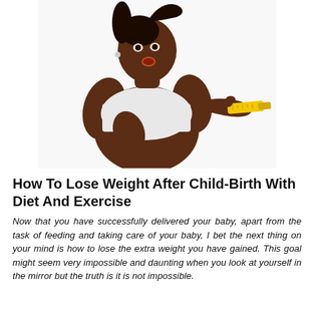[Figure (photo): A plus-size Black woman wearing a white strapless top, sitting and looking with surprise at a yellow measuring tape she is pulling. White background.]
How To Lose Weight After Child-Birth With Diet And Exercise
Now that you have successfully delivered your baby, apart from the task of feeding and taking care of your baby, I bet the next thing on your mind is how to lose the extra weight you have gained. This goal might seem very impossible and daunting when you look at yourself in the mirror but the truth is it is not impossible.